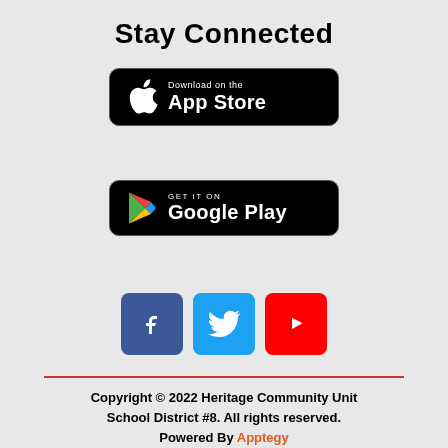Stay Connected
[Figure (logo): Download on the App Store button — black rounded rectangle with Apple logo and text 'Download on the App Store']
[Figure (logo): Get it on Google Play button — black rounded rectangle with Google Play triangle logo and text 'GET IT ON Google Play']
[Figure (logo): Social media icons: Facebook (blue square with 'f'), Twitter (light blue square with bird), YouTube (red square with play button)]
Copyright © 2022 Heritage Community Unit School District #8. All rights reserved. Powered By Apptegy